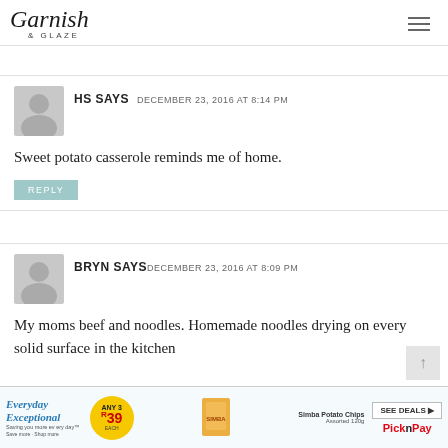Garnish & Glaze
HS SAYS   DECEMBER 23, 2016 AT 8:14 PM
Sweet potato casserole reminds me of home.
REPLY
BRYN SAYS  DECEMBER 23, 2016 AT 8:09 PM
My moms beef and noodles. Homemade noodles drying on every solid surface in the kitchen
[Figure (photo): Advertisement banner for Pick n Pay: Everyday Exceptional, Any 3 for R39, Simba Potato Chips Assorted 120g, See Deals button, DStv logo, Pick n Pay logo]